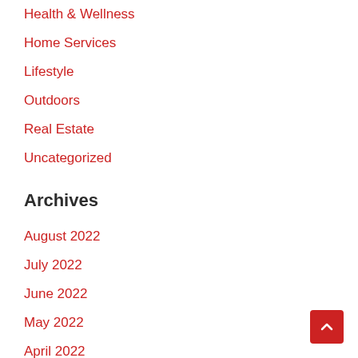Health & Wellness
Home Services
Lifestyle
Outdoors
Real Estate
Uncategorized
Archives
August 2022
July 2022
June 2022
May 2022
April 2022